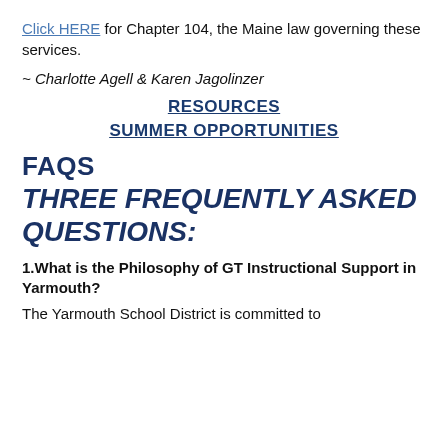Click HERE for Chapter 104, the Maine law governing these services.
~ Charlotte Agell & Karen Jagolinzer
RESOURCES
SUMMER OPPORTUNITIES
FAQS THREE FREQUENTLY ASKED QUESTIONS:
1.What is the Philosophy of GT Instructional Support in Yarmouth?
The Yarmouth School District is committed to